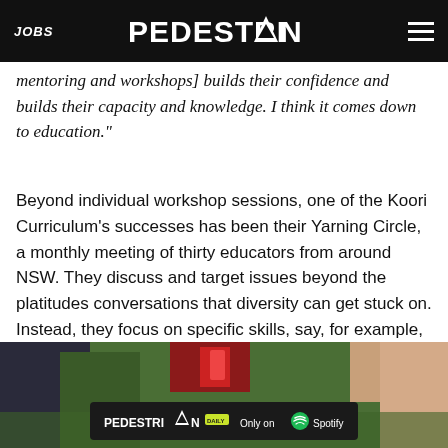JOBS | PEDESTRIAN | (menu)
mentoring and workshops] builds their confidence and builds their capacity and knowledge. I think it comes down to education."
Beyond individual workshop sessions, one of the Koori Curriculum’s successes has been their Yarning Circle, a monthly meeting of thirty educators from around NSW. They discuss and target issues beyond the platitudes conversations that diversity can get stuck on. Instead, they focus on specific skills, say, for example, how to teach Indigenous languages.
[Figure (photo): Partial photo of people sitting on grass, with a Pedestrian Daily / Only on Spotify advertisement banner overlaid at the bottom.]